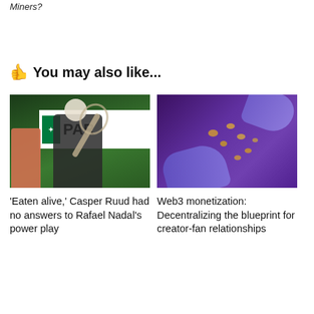Miners?
You may also like...
[Figure (photo): Tennis player (Casper Ruud) at a clay court tournament with BNP Paribas branding in background]
‘Eaten alive,’ Casper Ruud had no answers to Rafael Nadal’s power play
[Figure (photo): Purple-toned image of hands exchanging coins, representing Web3 and cryptocurrency monetization]
Web3 monetization: Decentralizing the blueprint for creator-fan relationships